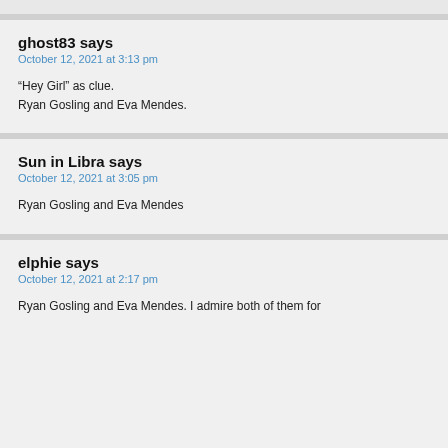ghost83 says
October 12, 2021 at 3:13 pm
“Hey Girl” as clue.
Ryan Gosling and Eva Mendes.
Sun in Libra says
October 12, 2021 at 3:05 pm
Ryan Gosling and Eva Mendes
elphie says
October 12, 2021 at 2:17 pm
Ryan Gosling and Eva Mendes. I admire both of them for